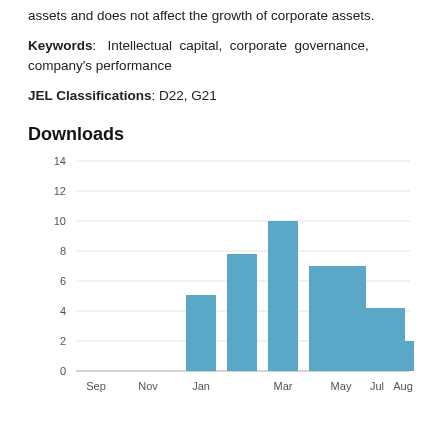assets and does not affect the growth of corporate assets.
Keywords: Intellectual capital, corporate governance, company's performance
JEL Classifications: D22, G21
Downloads
[Figure (bar-chart): Downloads]